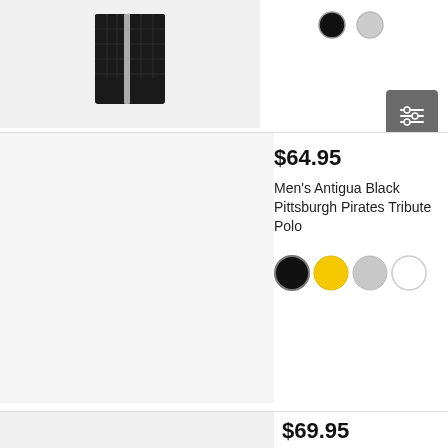[Figure (photo): Black quilted jacket product image]
[Figure (illustration): Color swatches: black and light gray circles for first product]
[Figure (other): Filter/settings button icon with sliders]
$64.95
Men's Antigua Black Pittsburgh Pirates Tribute Polo
[Figure (illustration): Color swatches: black, yellow/gold, light gray, white circles]
$69.95